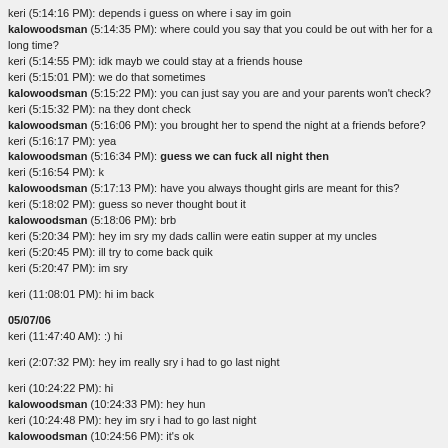keri (5:14:16 PM): depends i guess on where i say im goin
kalowoodsman (5:14:35 PM): where could you say that you could be out with her for a long time?
keri (5:14:55 PM): idk mayb we could stay at a friends house
keri (5:15:01 PM): we do that sometimes
kalowoodsman (5:15:22 PM): you can just say you are and your parents won't check?
keri (5:15:32 PM): na they dont check
kalowoodsman (5:16:06 PM): you brought her to spend the night at a friends before?
keri (5:16:17 PM): yea
kalowoodsman (5:16:34 PM): guess we can fuck all night then
keri (5:16:54 PM): k
kalowoodsman (5:17:13 PM): have you always thought girls are meant for this?
keri (5:18:02 PM): guess so never thought bout it
kalowoodsman (5:18:06 PM): brb
keri (5:20:34 PM): hey im sry my dads callin were eatin supper at my uncles
keri (5:20:45 PM): ill try to come back quik
keri (5:20:47 PM): im sry
keri (11:08:01 PM): hi im back
05/07/06
keri (11:47:40 AM): :) hi
keri (2:07:32 PM): hey im really sry i had to go last night
keri (10:24:22 PM): hi
kalowoodsman (10:24:33 PM): hey hun
keri (10:24:48 PM): hey im sry i had to go last night
kalowoodsman (10:24:56 PM): it's ok
kalowoodsman (10:25:42 PM): how was it?
keri (10:25:51 PM): boring
kalowoodsman (10:26:29 PM): lol, why?
keri (10:26:46 PM): idk nothin to do but talk
keri (10:26:52 PM): it was ok i guess
kalowoodsman (10:26:59 PM): all family?
keri (10:27:05 PM): yea
kalowoodsman (10:27:55 PM): whatcha up to now?
keri (10:28:04 PM): chattin
kalowoodsman (10:28:15 PM): ...